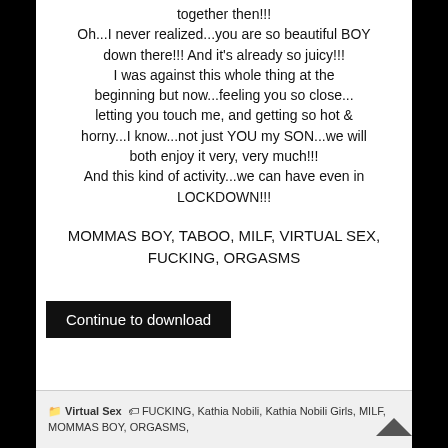together then!!! Oh...I never realized...you are so beautiful BOY down there!!! And it's already so juicy!!! I was against this whole thing at the beginning but now...feeling you so close... letting you touch me, and getting so hot & horny...I know...not just YOU my SON...we will both enjoy it very, very much!!! And this kind of activity...we can have even in LOCKDOWN!!!
MOMMAS BOY, TABOO, MILF, VIRTUAL SEX, FUCKING, ORGASMS
Continue to download
Virtual Sex   FUCKING, Kathia Nobili, Kathia Nobili Girls, MILF, MOMMAS BOY, ORGASMS,